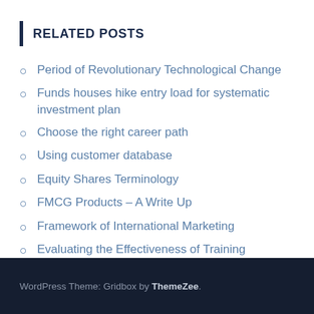RELATED POSTS
Period of Revolutionary Technological Change
Funds houses hike entry load for systematic investment plan
Choose the right career path
Using customer database
Equity Shares Terminology
FMCG Products – A Write Up
Framework of International Marketing
Evaluating the Effectiveness of Training
Deciding on Investment in Shares
What does the customer buy?
WordPress Theme: Gridbox by ThemeZee.